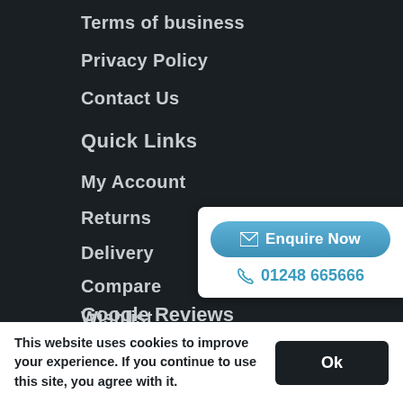Terms of business
Privacy Policy
Contact Us
Quick Links
My Account
Returns
Delivery
Compare
Wishlist
Google Reviews
[Figure (other): Enquire Now button with envelope icon and phone number 01248 665666]
This website uses cookies to improve your experience. If you continue to use this site, you agree with it.
Ok